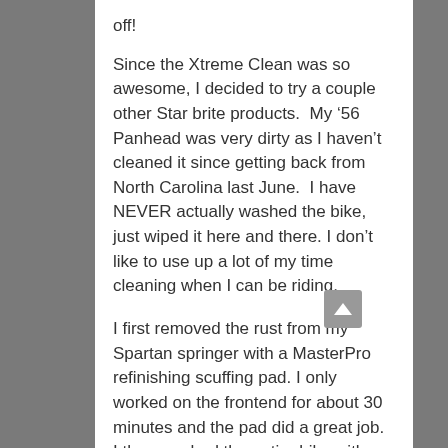off!
Since the Xtreme Clean was so awesome, I decided to try a couple other Star brite products.  My ’56 Panhead was very dirty as I haven’t cleaned it since getting back from North Carolina last June.  I have NEVER actually washed the bike, just wiped it here and there. I don’t like to use up a lot of my time cleaning when I can be riding.
I first removed the rust from my Spartan springer with a MasterPro refinishing scuffing pad. I only worked on the frontend for about 30 minutes and the pad did a great job.  I then washed the entire bike with Xtreme Clean.  Once the bike was dry, I applied Star brite